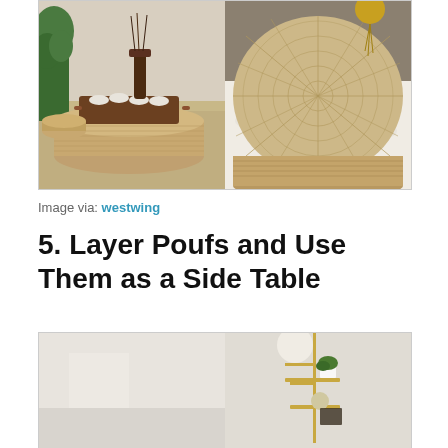[Figure (photo): Two side-by-side photos of woven/rattan floor cushion poufs. Left: a round woven pouf with a wooden tray on top containing tea cups and a wooden stand with brushes or incense, on a woven mat with a plant in background. Right: close-up of a round woven seagrass pouf on a fluffy white rug.]
Image via: westwing
5. Layer Poufs and Use Them as a Side Table
[Figure (photo): Two side-by-side photos showing a styled room interior. Left: a mostly white/light interior. Right: a close-up of a brass/gold floor lamp with multiple shelves holding a small potted plant and a round object, against a light background.]